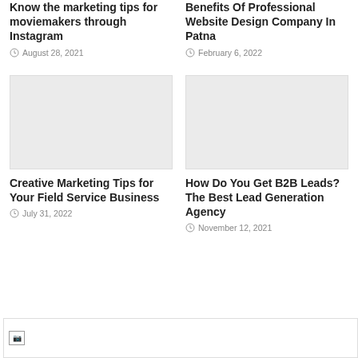Know the marketing tips for moviemakers through Instagram
August 28, 2021
Benefits Of Professional Website Design Company In Patna
February 6, 2022
[Figure (photo): Placeholder image for Creative Marketing Tips article]
Creative Marketing Tips for Your Field Service Business
July 31, 2022
[Figure (photo): Placeholder image for B2B Leads article]
How Do You Get B2B Leads? The Best Lead Generation Agency
November 12, 2021
[Figure (photo): Broken image at bottom of page]